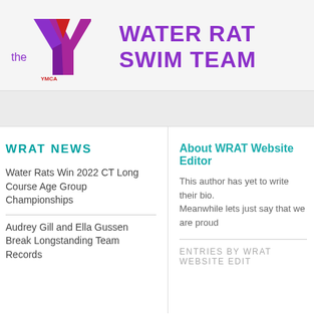[Figure (logo): YMCA logo with 'the Y' text and triangular Y symbol in purple, magenta and red]
WATER RAT SWIM TEAM
WRAT NEWS
Water Rats Win 2022 CT Long Course Age Group Championships
Audrey Gill and Ella Gussen Break Longstanding Team Records
About WRAT Website Editor
This author has yet to write their bio. Meanwhile lets just say that we are proud
ENTRIES BY WRAT WEBSITE EDIT